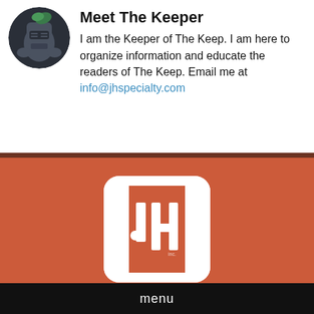[Figure (illustration): Circular avatar image of a knight in armor with a dark background and green accent]
Meet The Keeper
I am the Keeper of The Keep. I am here to organize information and educate the readers of The Keep. Email me at info@jhspecialty.com
[Figure (logo): JH Specialty Inc. logo — white rounded square bracket design with JH letters on an orange/terracotta background]
JH is an interactive digital agency. We provide a variety of services that make our clien... You Can Rely On."
menu